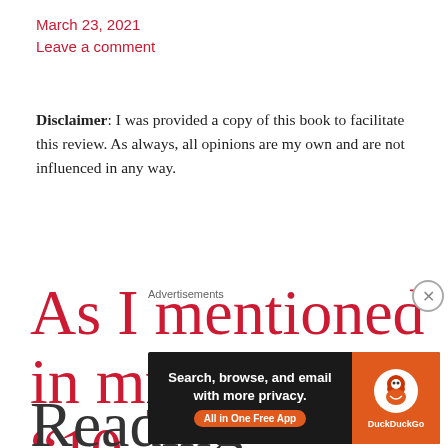March 23, 2021
Leave a comment
Disclaimer: I was provided a copy of this book to facilitate this review. As always, all opinions are my own and are not influenced in any way.
As I mentioned in my last post, “10 Reading
[Figure (infographic): DuckDuckGo advertisement banner: 'Search, browse, and email with more privacy. All in One Free App' with DuckDuckGo logo on orange background.]